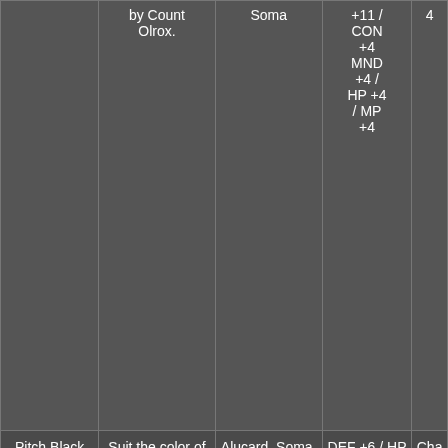| Name | Description | Characters | Effects | Chapter |
| --- | --- | --- | --- | --- |
|  | by Count Olrox. | Soma | +11 / CON +4 MND +4 / HP +4 / MP +4 | 4 |
| Pitch Black Suit | Suit the color of inky darkness. | Alucard, Soma, Jonathan, Julius, Richter, | DEF +6 / HP +1 / MP +1 | Chap 5, 6 |
| Platinum Mail | Platinum breastplate. | Alucard, Soma, Shanoa, Jonathan | DEF +22 | Chap 5 - Ha |
| Poncho | Simple piece | Alucard, | DEF | Chap |